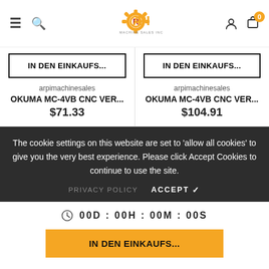[Figure (logo): ARPI Machine Sales Inc. logo with orange gear icon and text]
IN DEN EINKAUFS...
IN DEN EINKAUFS...
arpimachinesales
OKUMA MC-4VB CNC VER...
$71.33
arpimachinesales
OKUMA MC-4VB CNC VER...
$104.91
The cookie settings on this website are set to 'allow all cookies' to give you the very best experience. Please click Accept Cookies to continue to use the site.
PRIVACY POLICY   ACCEPT ✔
00D : 00H : 00M : 00S
IN DEN EINKAUFS...